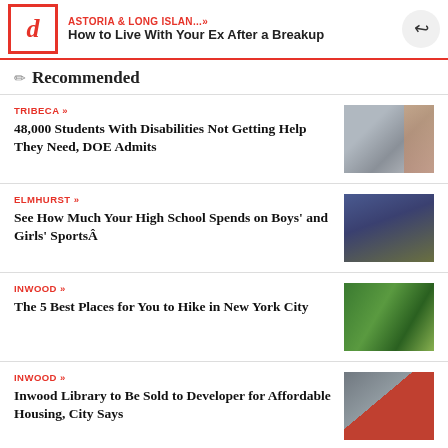ASTORIA & LONG ISLAN...» How to Live With Your Ex After a Breakup
Recommended
TRIBECA » 48,000 Students With Disabilities Not Getting Help They Need, DOE Admits
ELMHURST » See How Much Your High School Spends on Boys' and Girls' SportsÂ
INWOOD » The 5 Best Places for You to Hike in New York City
INWOOD » Inwood Library to Be Sold to Developer for Affordable Housing, City Says